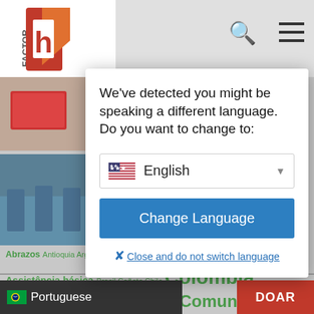[Figure (screenshot): Website header with Factor H logo, search icon, and hamburger menu on gray background]
We've detected you might be speaking a different language. Do you want to change to:
[Figure (screenshot): Dropdown selector showing US flag and 'English' with dropdown arrow]
Change Language
Close and do not switch language
Abrazos Antioquia Argentina Art4HD Barranquitas
Assistência básica Brasil Cañete Chile Colômbia
mento Da Comunidad
Portuguese
DOAR